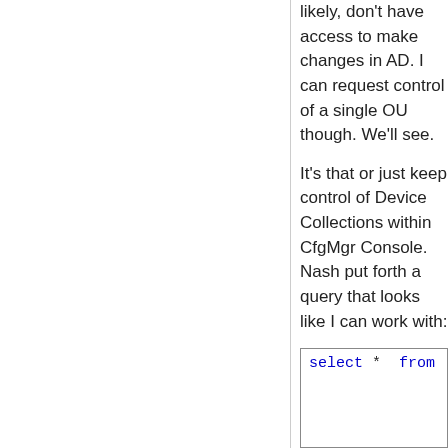likely, don't have access to make changes in AD. I can request control of a single OU though. We'll see.
It's that or just keep control of Device Collections within CfgMgr Console. Nash put forth a query that looks like I can work with:
[Figure (screenshot): A code/query box showing: select * from SMS_R_System wh]
I'll probably end up with Nash's solution as operations folks aren't very cooperative with me. Thanks for your input!